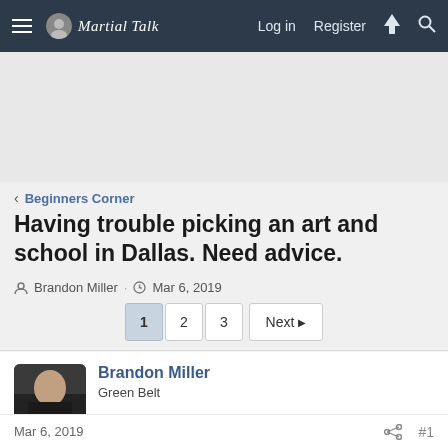Martial Talk — Log in   Register
Beginners Corner
Having trouble picking an art and school in Dallas. Need advice.
Brandon Miller · Mar 6, 2019
1  2  3  Next
Brandon Miller
Green Belt
Mar 6, 2019   #1